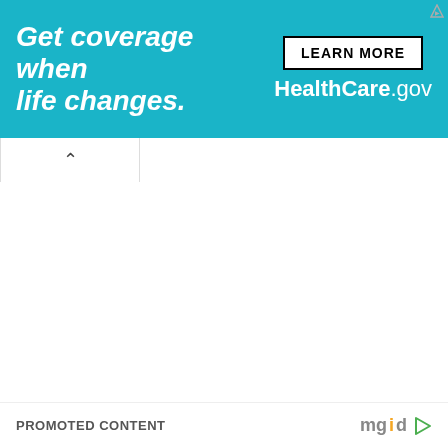[Figure (screenshot): HealthCare.gov advertisement banner with teal background. Left side: italic bold white text 'Get coverage when life changes.' Right side: white 'LEARN MORE' button and white text 'HealthCare.gov']
^
PROMOTED CONTENT
[Figure (logo): mgid logo with play button icon]